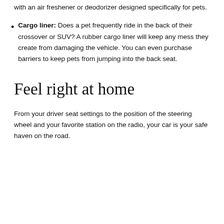with an air freshener or deodorizer designed specifically for pets.
Cargo liner: Does a pet frequently ride in the back of their crossover or SUV? A rubber cargo liner will keep any mess they create from damaging the vehicle. You can even purchase barriers to keep pets from jumping into the back seat.
Feel right at home
From your driver seat settings to the position of the steering wheel and your favorite station on the radio, your car is your safe haven on the road.